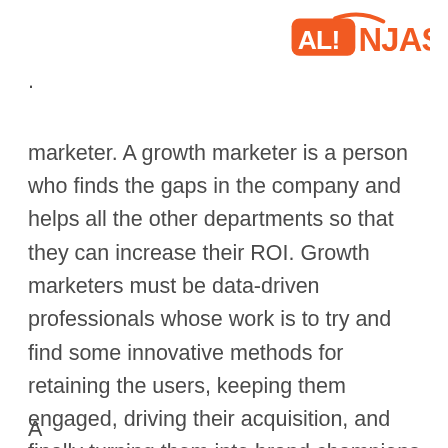ALINJAS
marketer. A growth marketer is a person who finds the gaps in the company and helps all the other departments so that they can increase their ROI. Growth marketers must be data-driven professionals whose work is to try and find some innovative methods for retaining the users, keeping them engaged, driving their acquisition, and finally turning them into brand champions.